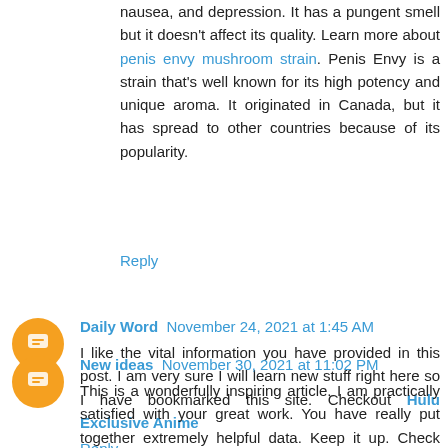nausea, and depression. It has a pungent smell but it doesn't affect its quality. Learn more about penis envy mushroom strain. Penis Envy is a strain that's well known for its high potency and unique aroma. It originated in Canada, but it has spread to other countries because of its popularity.
Reply
Daily Word  November 24, 2021 at 1:45 AM
I like the vital information you have provided in this post. I am very sure I will learn new stuff right here so I have bookmarked this site. Checkout Hulu Exclusive Anime
Reply
New ideas  November 30, 2021 at 11:02 PM
This is a wonderfully inspiring article. I am practically satisfied with your great work. You have really put together extremely helpful data. Keep it up. Check webmail sign in